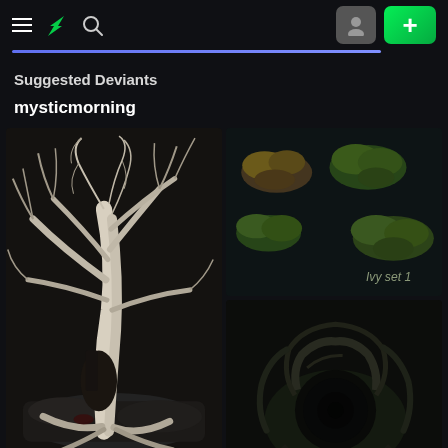DeviantArt navigation bar with hamburger menu, DA logo, search icon, profile button, and plus button
[Figure (infographic): Blue/purple horizontal progress bar]
Suggested Deviants
mysticmorning
[Figure (illustration): Dark digital art of a twisted bare white tree with gnarled roots on rocky ground]
[Figure (illustration): Dark background with green ivy/foliage clusters labeled 'Ivy set 1']
[Figure (illustration): Dark close-up image of a creature or organic dark structure with circular opening]